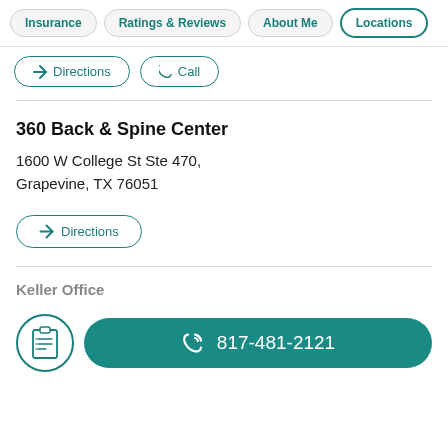Insurance | Ratings & Reviews | About Me | Locations
Directions  Call
360 Back & Spine Center
1600 W College St Ste 470,
Grapevine, TX 76051
Directions
Keller Office
817-481-2121